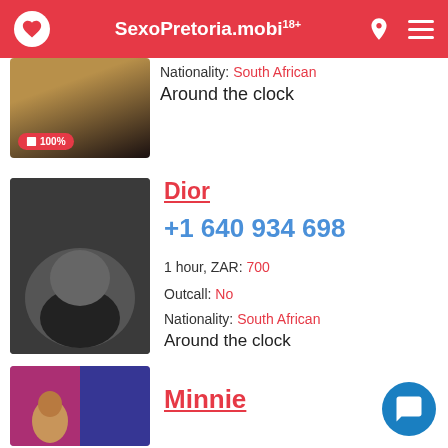SexoPretoria.mobi 18+
[Figure (photo): Partial view of a person, top of listing card, with 100% photo badge]
Nationality: South African
Around the clock
[Figure (photo): Black and white photo for Dior listing]
Dior
+1 640 934 698
1 hour, ZAR: 700
Outcall: No
Nationality: South African
Around the clock
[Figure (photo): Colorful photo for Minnie listing, partially visible]
Minnie